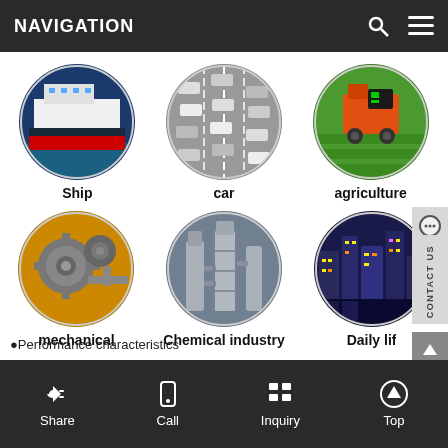NAVIGATION
[Figure (photo): Circular photo of a large ship/ferry on water]
Ship
[Figure (photo): Circular photo of heavy car traffic on a highway]
car
[Figure (photo): Circular photo of agricultural equipment/machinery in a field]
agriculture
[Figure (photo): Circular photo of mechanical engine parts/machinery]
mechanical
[Figure (photo): Circular photo of chemical industry plant with towers and pipes]
Chemical industry
[Figure (photo): Circular photo of a city skyline at night - daily life]
Daily life
•Performance characteristics
Share   Call   Inquiry   Top